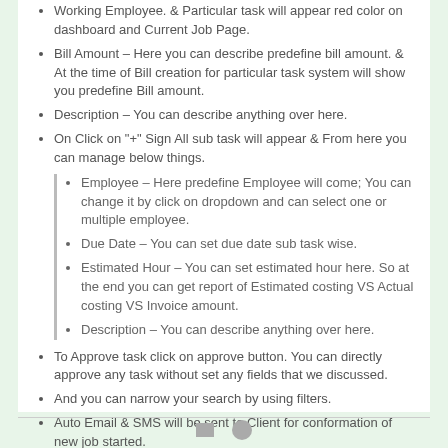Working Employee. & Particular task will appear red color on dashboard and Current Job Page.
Bill Amount – Here you can describe predefine bill amount. & At the time of Bill creation for particular task system will show you predefine Bill amount.
Description – You can describe anything over here.
On Click on "+" Sign All sub task will appear & From here you can manage below things.
Employee – Here predefine Employee will come; You can change it by click on dropdown and can select one or multiple employee.
Due Date – You can set due date sub task wise.
Estimated Hour – You can set estimated hour here. So at the end you can get report of Estimated costing VS Actual costing VS Invoice amount.
Description – You can describe anything over here.
To Approve task click on approve button. You can directly approve any task without set any fields that we discussed.
And you can narrow your search by using filters.
Auto Email & SMS will be sent to Client for conformation of new job started.